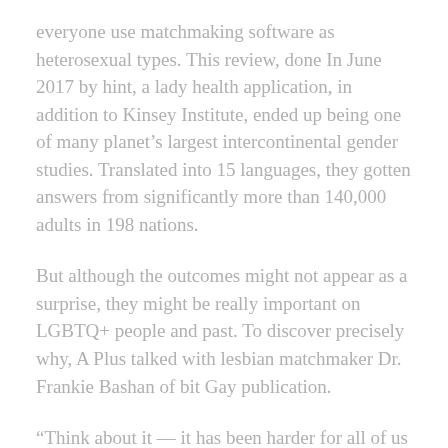everyone use matchmaking software as heterosexual types. This review, done In June 2017 by hint, a lady health application, in addition to Kinsey Institute, ended up being one of many planet's largest intercontinental gender studies. Translated into 15 languages, they gotten answers from significantly more than 140,000 adults in 198 nations.
But although the outcomes might not appear as a surprise, they might be really important on LGBTQ+ people and past. To discover precisely why, A Plus talked with lesbian matchmaker Dr. Frankie Bashan of bit Gay publication.
“Think about it — it has been harder for all of us to generally meet each other,” Bashan informed A Plus, observing that before matchmaking applications, LGBTQ+ visitors relied on taverns, lounges, and other people’s homes — choices with